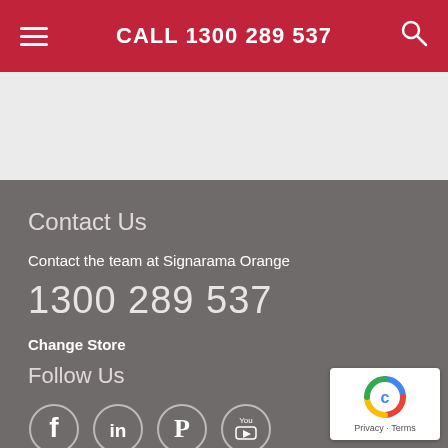CALL 1300 289 537
Contact Us
Contact the team at Signarama Orange
1300 289 537
Change Store
Follow Us
[Figure (illustration): Social media icons: Facebook, LinkedIn, Pinterest, YouTube]
[Figure (logo): reCAPTCHA badge with Privacy and Terms text]